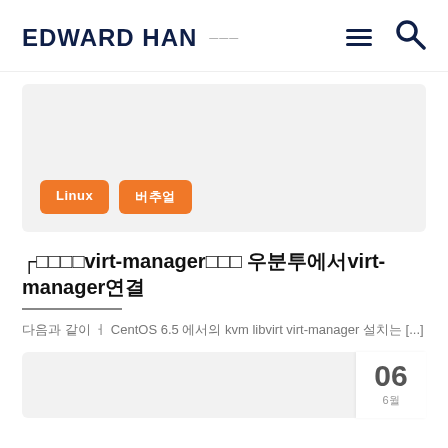EDWARD HAN
[Figure (screenshot): Gray card block with two orange tags labeled 'Linux' and '버추얼']
우분투에서virt-manager연결
다음과 같이 ㅓ CentOS 6.5 에서의 kvm libvirt virt-manager 설치는 [...]
[Figure (screenshot): Gray card image block with date badge showing 06 and 6월]